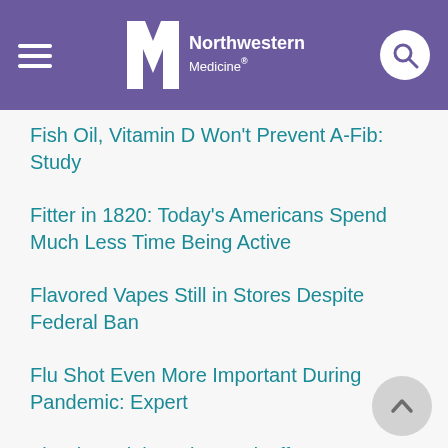Northwestern Medicine
Fish Oil, Vitamin D Won't Prevent A-Fib: Study
Fitter in 1820: Today's Americans Spend Much Less Time Being Active
Flavored Vapes Still in Stores Despite Federal Ban
Flu Shot Even More Important During Pandemic: Expert
Flu Shot Might Help Ward Off Severe COVID
Flu Shots for Kids Protect Everybody, Study Shows
Flushing a Public Toilet? Be Sure to Wear a Mask
For 911 Calls, Are Mental Health Specialists